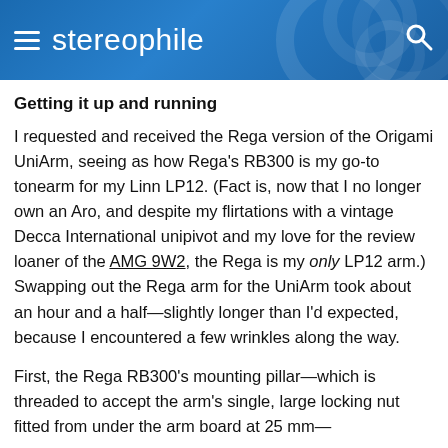stereophile
Getting it up and running
I requested and received the Rega version of the Origami UniArm, seeing as how Rega's RB300 is my go-to tonearm for my Linn LP12. (Fact is, now that I no longer own an Aro, and despite my flirtations with a vintage Decca International unipivot and my love for the review loaner of the AMG 9W2, the Rega is my only LP12 arm.) Swapping out the Rega arm for the UniArm took about an hour and a half—slightly longer than I'd expected, because I encountered a few wrinkles along the way.
First, the Rega RB300's mounting pillar—which is threaded to accept the arm's single, large locking nut fitted from under the arm board at 25 mm—